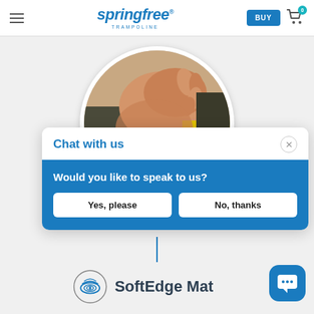[Figure (screenshot): Springfree Trampoline website header with hamburger menu, logo, BUY button, and cart icon]
[Figure (photo): Close-up circular photo of a child's hand gripping a yellow trampoline mat edge with dark netting visible]
[Figure (screenshot): Chat with us popup dialog on blue background asking 'Would you like to speak to us?' with Yes please and No thanks buttons]
[Figure (logo): SoftEdge Mat logo: circular icon with blue wave/eye design and bold text 'SoftEdge Mat']
[Figure (screenshot): Blue chat floating action button with three dots speech bubble icon in bottom right corner]